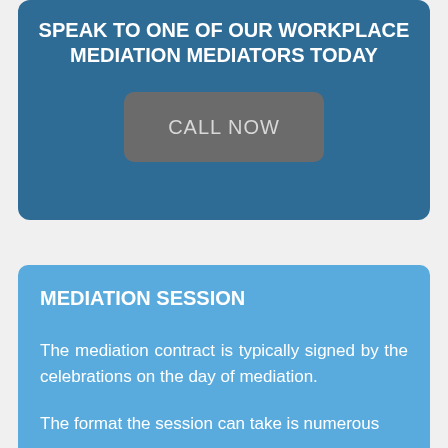SPEAK TO ONE OF OUR WORKPLACE MEDIATION MEDIATORS TODAY
CALL NOW
MEDIATION SESSION
The mediation contract is typically signed by the celebrations on the day of mediation.
The format the session can take is numerous